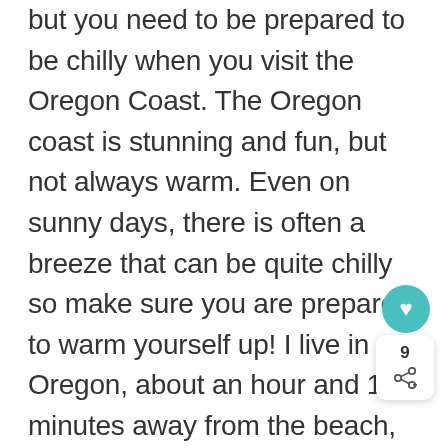but you need to be prepared to be chilly when you visit the Oregon Coast. The Oregon coast is stunning and fun, but not always warm. Even on sunny days, there is often a breeze that can be quite chilly so make sure you are prepared to warm yourself up! I live in Oregon, about an hour and 15 minutes away from the beach, so you can find our family at the beach often, and we never go without a sweatshirt at the very minimum.